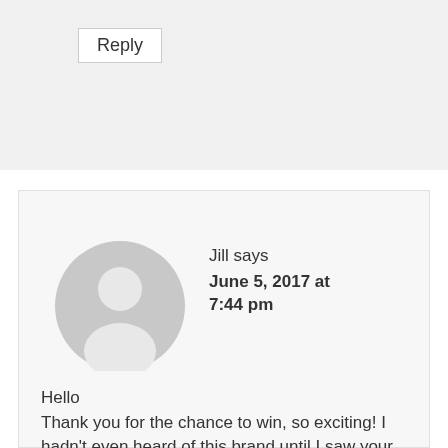Reply
[Figure (illustration): Default grey user avatar circle with silhouette of a person]
Jill says
June 5, 2017 at 7:44 pm
Hello Thank you for the chance to win, so exciting! I hadn't even heard of this brand until I saw your FB page only a couple of weeks ago and now I think I could buy one of everything! My fave is the Ashley Black Oily Nubuck.